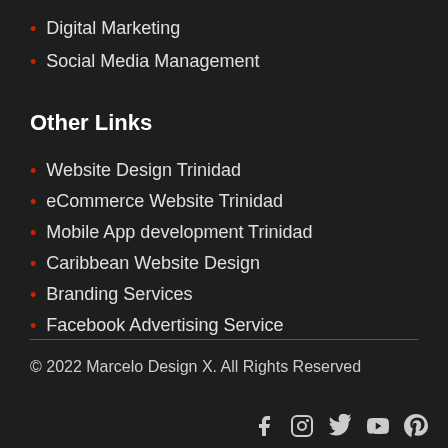Digital Marketing
Social Media Management
Other Links
Website Design Trinidad
eCommerce Website Trinidad
Mobile App development Trinidad
Caribbean Website Design
Branding Services
Facebook Advertising Service
© 2022 Marcelo Design X. All Rights Reserved